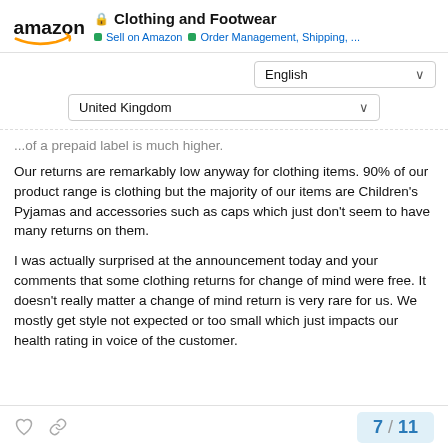Clothing and Footwear | Sell on Amazon | Order Management, Shipping, ...
...of a prepaid label is much higher.
Our returns are remarkably low anyway for clothing items. 90% of our product range is clothing but the majority of our items are Children's Pyjamas and accessories such as caps which just don't seem to have many returns on them.
I was actually surprised at the announcement today and your comments that some clothing returns for change of mind were free. It doesn't really matter a change of mind return is very rare for us. We mostly get style not expected or too small which just impacts our health rating in voice of the customer.
7 / 11